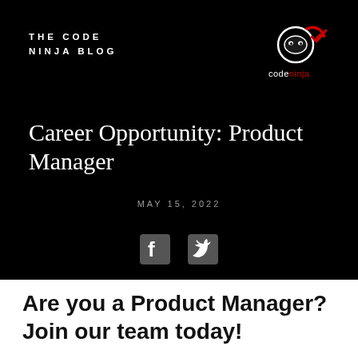THE CODE NINJA BLOG
[Figure (logo): Code Ninja logo: ninja face icon with a red checkmark swoosh, text 'codeninja' below]
Career Opportunity: Product Manager
MAY 15, 2022
[Figure (other): Facebook and Twitter social media icons]
Are you a Product Manager? Join our team today!